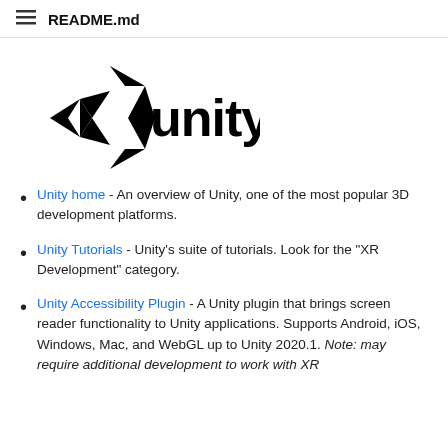README.md
[Figure (logo): Unity logo — geometric diamond/arrow shape on left, text 'unity' in bold sans-serif on right, all black]
Unity home - An overview of Unity, one of the most popular 3D development platforms.
Unity Tutorials - Unity's suite of tutorials. Look for the "XR Development" category.
Unity Accessibility Plugin - A Unity plugin that brings screen reader functionality to Unity applications. Supports Android, iOS, Windows, Mac, and WebGL up to Unity 2020.1. Note: may require additional development to work with XR